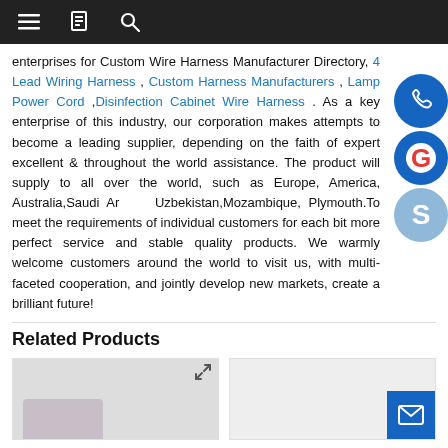Navigation bar with menu, bookmark, and search icons
enterprises for Custom Wire Harness Manufacturer Directory, 4 Lead Wiring Harness , Custom Harness Manufacturers , Lamp Power Cord ,Disinfection Cabinet Wire Harness . As a key enterprise of this industry, our corporation makes attempts to become a leading supplier, depending on the faith of expert excellent & throughout the world assistance. The product will supply to all over the world, such as Europe, America, Australia,Saudi Arabia, Uzbekistan,Mozambique, Plymouth.To meet the requirements of individual customers for each bit more perfect service and stable quality products. We warmly welcome customers around the world to visit us, with multi-faceted cooperation, and jointly develop new markets, create a brilliant future!
Related Products
[Figure (photo): Product image card 1 with expand icon]
[Figure (photo): Product image card 2 with mail button]